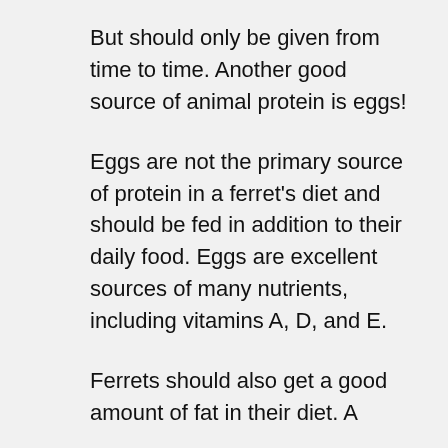But should only be given from time to time. Another good source of animal protein is eggs!
Eggs are not the primary source of protein in a ferret's diet and should be fed in addition to their daily food. Eggs are excellent sources of many nutrients, including vitamins A, D, and E.
Ferrets should also get a good amount of fat in their diet. A